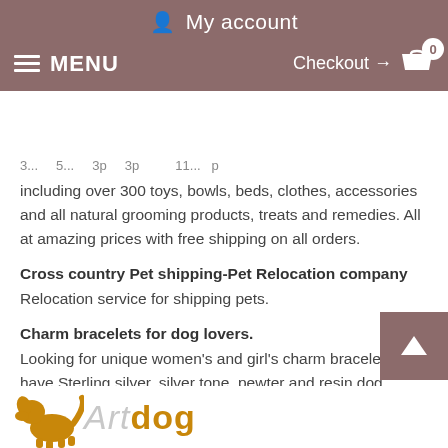My account  Checkout → 0  MENU
including over 300 toys, bowls, beds, clothes, accessories and all natural grooming products, treats and remedies. All at amazing prices with free shipping on all orders.
Cross country Pet shipping-Pet Relocation company
Relocation service for shipping pets.
Charm bracelets for dog lovers.
Looking for unique women's and girl's charm bracelets. We have Sterling silver, silver tone, pewter and resin dog charms.
Animal DNA Laboratory - Canine Breed Determination Test Now Available! Worldwide testing directly to breeders at affordable prices.
[Figure (logo): Artdog logo with golden dog silhouette and stylized text]